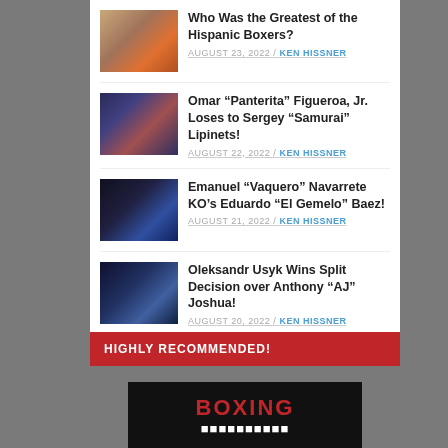Who Was the Greatest of the Hispanic Boxers?
AUGUST 23, 2022 / KEN HISSNER
Omar “Panterita” Figueroa, Jr. Loses to Sergey “Samurai” Lipinets!
AUGUST 22, 2022 / KEN HISSNER
Emanuel “Vaquero” Navarrete KO’s Eduardo “El Gemelo” Baez!
AUGUST 21, 2022 / KEN HISSNER
Oleksandr Usyk Wins Split Decision over Anthony “AJ” Joshua!
AUGUST 20, 2022 / KEN HISSNER
HIGHLY RECOMMENDED!
[Figure (illustration): Boxing banner/logo image with red BOXING text on dark background]